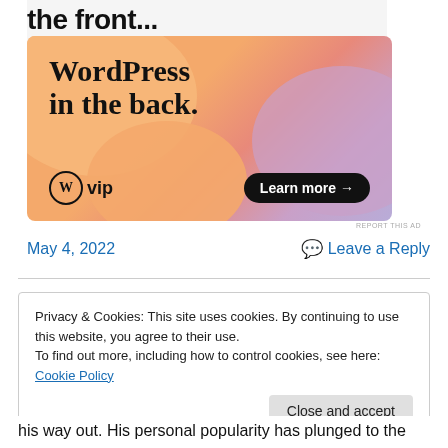the front...
[Figure (illustration): WordPress VIP advertisement banner with colorful blob shapes (orange, pink, purple). Text reads 'WordPress in the back.' with WP VIP logo and 'Learn more →' button.]
REPORT THIS AD
May 4, 2022
💬 Leave a Reply
Privacy & Cookies: This site uses cookies. By continuing to use this website, you agree to their use.
To find out more, including how to control cookies, see here: Cookie Policy
Close and accept
his way out. His personal popularity has plunged to the